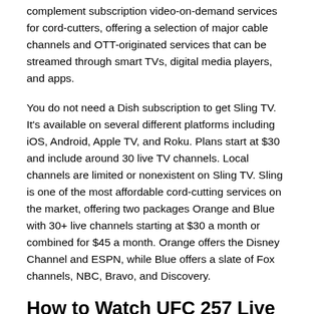complement subscription video-on-demand services for cord-cutters, offering a selection of major cable channels and OTT-originated services that can be streamed through smart TVs, digital media players, and apps.
You do not need a Dish subscription to get Sling TV. It's available on several different platforms including iOS, Android, Apple TV, and Roku. Plans start at $30 and include around 30 live TV channels. Local channels are limited or nonexistent on Sling TV. Sling is one of the most affordable cord-cutting services on the market, offering two packages Orange and Blue with 30+ live channels starting at $30 a month or combined for $45 a month. Orange offers the Disney Channel and ESPN, while Blue offers a slate of Fox channels, NBC, Bravo, and Discovery.
How to Watch UFC 257 Live Stream on Social Network?
We live in a modern era. In recent times, Social Network is